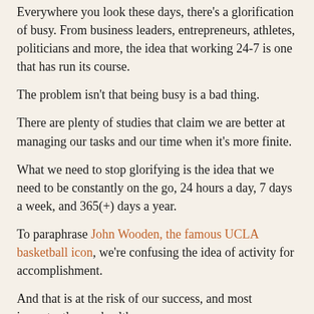Everywhere you look these days, there's a glorification of busy. From business leaders, entrepreneurs, athletes, politicians and more, the idea that working 24-7 is one that has run its course.
The problem isn't that being busy is a bad thing.
There are plenty of studies that claim we are better at managing our tasks and our time when it's more finite.
What we need to stop glorifying is the idea that we need to be constantly on the go, 24 hours a day, 7 days a week, and 365(+) days a year.
To paraphrase John Wooden, the famous UCLA basketball icon, we're confusing the idea of activity for accomplishment.
And that is at the risk of our success, and most importantly, our health.
It's A Lie The Puritans In Salem Tried To Sell Us
Piling on hours of work just to be busy doesn't guarantee we're